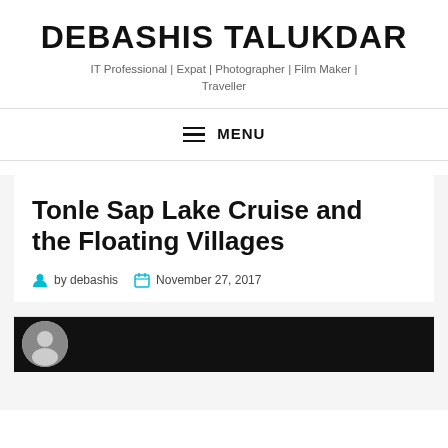DEBASHIS TALUKDAR
IT Professional | Expat | Photographer | Film Maker | Traveller
MENU
Tonle Sap Lake Cruise and the Floating Villages
by debashis  November 27, 2017
[Figure (photo): Dark image strip at the bottom of the page showing a circular avatar photo on the left side against a black background]